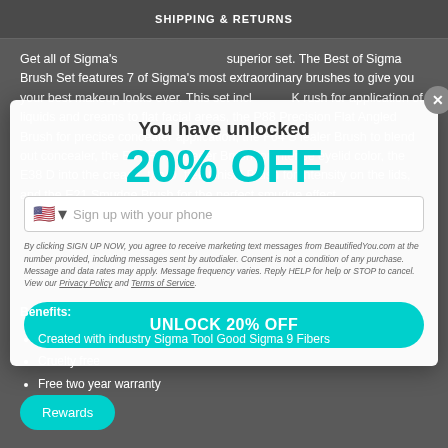SHIPPING & RETURNS
Get all of Sigma's most cutting brushes in one superior set. The Best of Sigma Brush Set features 7 of Sigma's most extraordinary brushes to give you your best makeup looks ever. This set includes F80 Flat Kabuki Brush for application of liquids and creams to flat facial areas, the P88 Precision Flat Angled Brush for precise concealer application, the F64 Soft Blend Concealer Brush to blend out concealer, the E37 Firm Shader Brush for intense eyelid color, the E38 Diffused Crease Brush to blend into the crease, the E68 Liner Chisel Brush for intensity on the lids, and the E21 Smudge Brush for the perfect smudge effect.
You have unlocked
20% OFF
Sign up with your phone
By clicking SIGN UP NOW, you agree to receive marketing text messages from BeautifiedYou.com at the number provided, including messages sent by autodialer. Consent is not a condition of any purchase. Message and data rates may apply. Message frequency varies. Reply HELP for help or STOP to cancel. View our Privacy Policy and Terms of Service.
UNLOCK 20% OFF
Benefits:
Created with industry Sigma Tool Good Sigma 9 Fibers
Cruelty free
Free two year warranty
Rewards